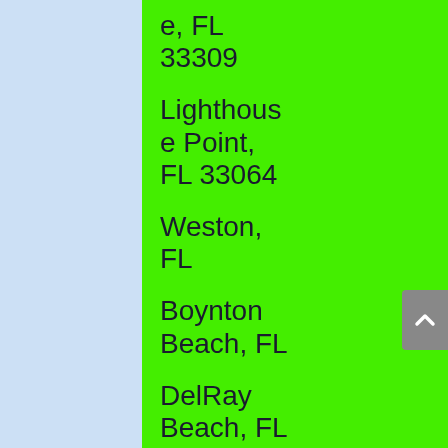e, FL 33309
Lighthouse Point, FL 33064
Weston, FL
Boynton Beach, FL
DelRay Beach, FL